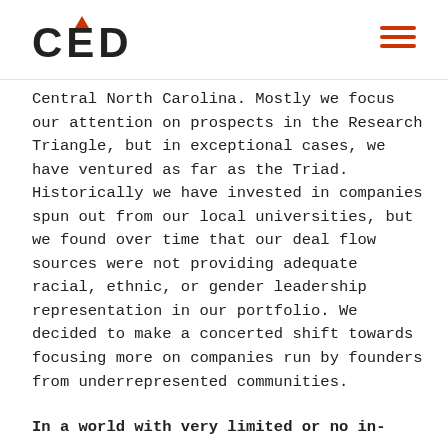CED
Central North Carolina. Mostly we focus our attention on prospects in the Research Triangle, but in exceptional cases, we have ventured as far as the Triad. Historically we have invested in companies spun out from our local universities, but we found over time that our deal flow sources were not providing adequate racial, ethnic, or gender leadership representation in our portfolio. We decided to make a concerted shift towards focusing more on companies run by founders from underrepresented communities.
In a world with very limited or no in-